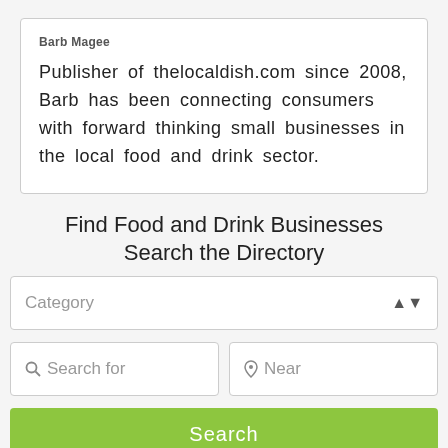Barb Magee
Publisher of thelocaldish.com since 2008, Barb has been connecting consumers with forward thinking small businesses in the local food and drink sector.
Find Food and Drink Businesses
Search the Directory
Category
Search for
Near
Search